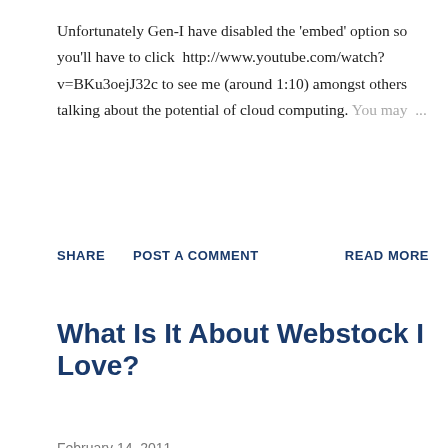Unfortunately Gen-I have disabled the 'embed' option so you'll have to click  http://www.youtube.com/watch?v=BKu3oejJ32c to see me (around 1:10) amongst others talking about the potential of cloud computing. You may ...
SHARE   POST A COMMENT   READ MORE
What Is It About Webstock I Love?
February 14, 2011
Over the weekend I put my hand up to a request from @AboutTheStory for their Webstock media scholar to ask some questions of past Webstockers ... I then left it too